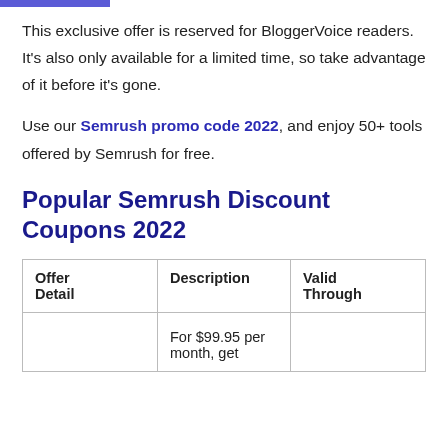This exclusive offer is reserved for BloggerVoice readers. It's also only available for a limited time, so take advantage of it before it's gone.
Use our Semrush promo code 2022, and enjoy 50+ tools offered by Semrush for free.
Popular Semrush Discount Coupons 2022
| Offer Detail | Description | Valid Through |
| --- | --- | --- |
|  | For $99.95 per month, get |  |